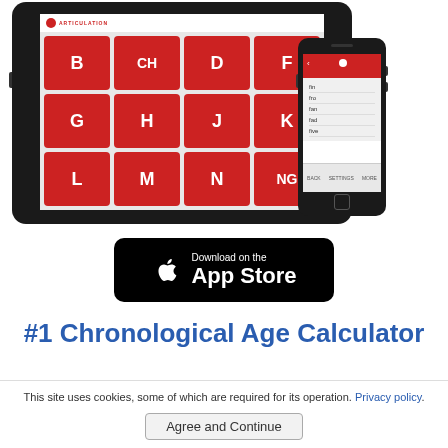[Figure (screenshot): Screenshot of Articulation app shown on iPad and iPhone. iPad shows a grid of red tiles with consonant letters: B, CH, D, F, G, H, J, K, L, M, N, NG. iPhone shows a list view of the app with words like fin, fro, fan, fad, five.]
[Figure (screenshot): Download on the App Store button (black rounded rectangle with Apple logo)]
#1 Chronological Age Calculator
This site uses cookies, some of which are required for its operation. Privacy policy.
Agree and Continue